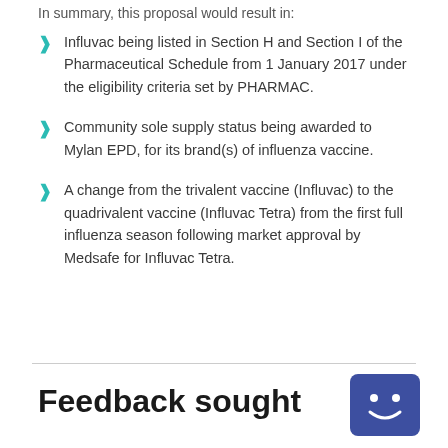In summary, this proposal would result in:
Influvac being listed in Section H and Section I of the Pharmaceutical Schedule from 1 January 2017 under the eligibility criteria set by PHARMAC.
Community sole supply status being awarded to Mylan EPD, for its brand(s) of influenza vaccine.
A change from the trivalent vaccine (Influvac) to the quadrivalent vaccine (Influvac Tetra) from the first full influenza season following market approval by Medsafe for Influvac Tetra.
Feedback sought